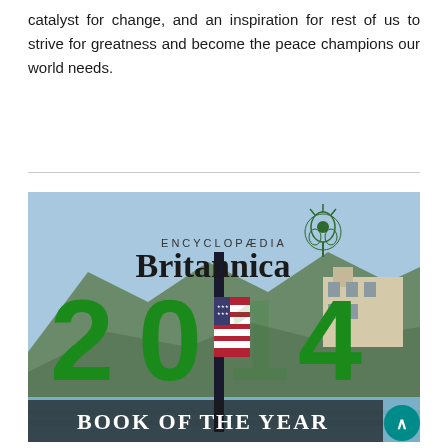catalyst for change, and an inspiration for rest of us to strive for greatness and become the peace champions our world needs.
[Figure (photo): Cover of Encyclopaedia Britannica 2014 Book of the Year, featuring the number '2014' in large green letters with a sailing boat mast through the '1', Alcatraz island in the background, and the Britannica thistle logo at the top.]